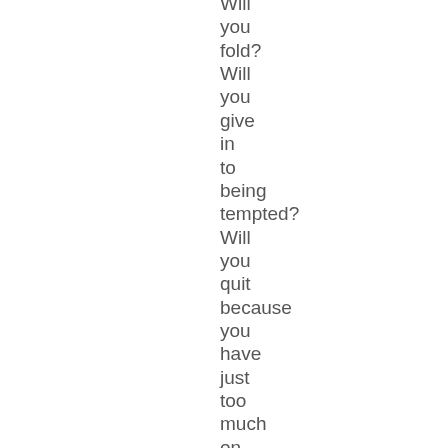Will you fold? Will you give in to being tempted? Will you quit because you have just too much on your plate (figuratively